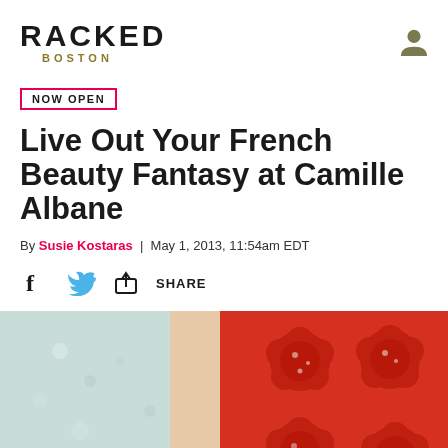RACKED BOSTON
NOW OPEN
Live Out Your French Beauty Fantasy at Camille Albane
By Susie Kostaras | May 1, 2013, 11:54am EDT
[Figure (other): Social share icons: Facebook f icon, Twitter bird icon, share/upload icon with SHARE label]
[Figure (photo): Hero image showing a woman in a floral/lace dress holding a red flower-shaped silicone mold tray with water droplets, red and white colors prominent]